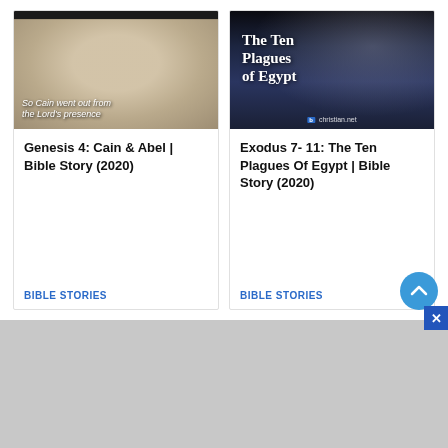[Figure (photo): Marble sculpture thumbnail with dark header bar and italic caption text reading 'So Cain went out from the Lord's presence']
Genesis 4: Cain & Abel | Bible Story (2020)
BIBLE STORIES
[Figure (photo): Dark stormy sky with bold white serif text reading 'The Ten Plagues of Egypt' and christian.net credit at bottom]
Exodus 7- 11: The Ten Plagues Of Egypt | Bible Story (2020)
BIBLE STORIES
[Figure (other): Gray advertisement area at bottom of page with close (X) button in top-right corner]